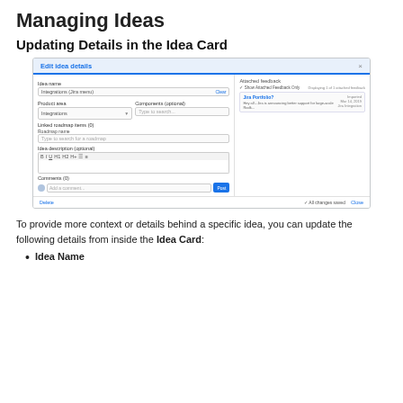Managing Ideas
Updating Details in the Idea Card
[Figure (screenshot): Screenshot of 'Edit idea details' dialog with fields for Idea name, Product area, Components, Linked roadmap items, Idea description, Comments, and Attached feedback panel on the right.]
To provide more context or details behind a specific idea, you can update the following details from inside the Idea Card:
Idea Name